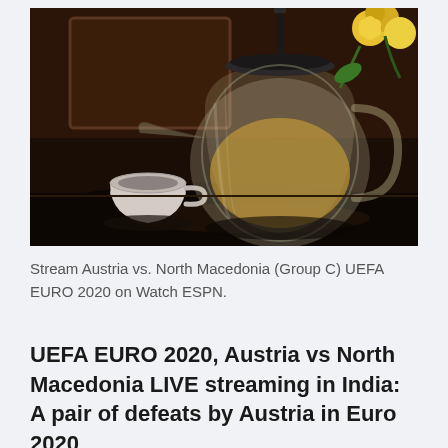[Figure (photo): A glass teapot filled with light golden tea, with a small ceramic teacup beside it on a dark surface. Yellow flowers visible in the top right background.]
Stream Austria vs. North Macedonia (Group C) UEFA EURO 2020 on Watch ESPN.
UEFA EURO 2020, Austria vs North Macedonia LIVE streaming in India: A pair of defeats by Austria in Euro 2020